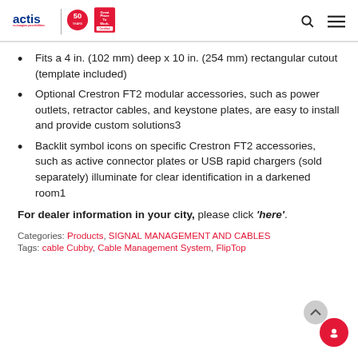actis re-imagine possibilities | 50 YEARS | Great Place To Work Certified
Fits a 4 in. (102 mm) deep x 10 in. (254 mm) rectangular cutout (template included)
Optional Crestron FT2 modular accessories, such as power outlets, retractor cables, and keystone plates, are easy to install and provide custom solutions3
Backlit symbol icons on specific Crestron FT2 accessories, such as active connector plates or USB rapid chargers (sold separately) illuminate for clear identification in a darkened room1
For dealer information in your city, please click 'here'.
Categories: Products, SIGNAL MANAGEMENT AND CABLES
Tags: cable Cubby, Cable Management System, FlipTop